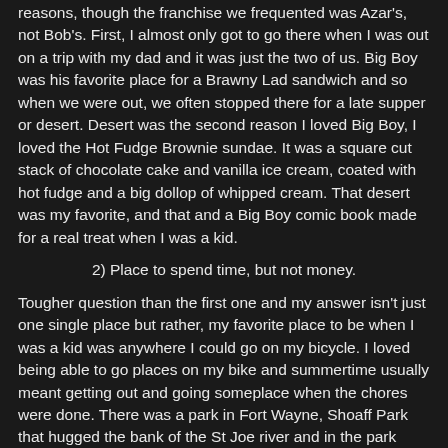reasons, though the franchise we frequented was Azar's, not Bob's. First, I almost only got to go there when I was out on a trip with my dad and it was just the two of us. Big Boy was his favorite place for a Brawny Lad sandwich and so when we were out, we often stopped there for a late supper or desert. Desert was the second reason I loved Big Boy, I loved the Hot Fudge Brownie sundae. It was a square cut stack of chocolate cake and vanilla ice cream, coated with hot fudge and a big dollop of whipped cream. That desert was my favorite, and that and a Big Boy comic book made for a real treat when I was a kid.
2) Place to spend time, but not money.
Tougher question than the first one and my answer isn't just one single place but rather, my favorite place to be when I was a kid was anywhere I could go on my bicycle. I loved being able to go places on my bike and summertime usually meant getting out and going someplace when the chores were done. There was a park in Fort Wayne, Shoaff Park that hugged the bank of the St Joe river and in the park there were trails to ride and a tiny pond with fish to irritate with a pole, a hook and some Bacos Bits as bait. Later.